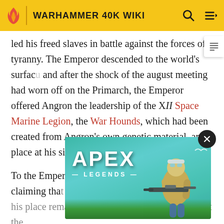WARHAMMER 40K WIKI
led his freed slaves in battle against the forces of tyranny. The Emperor descended to the world's surface and after the shock of the august meeting had worn off on the Primarch, the Emperor offered Angron the leadership of the XII Space Marine Legion, the War Hounds, which had been created from Angron's own genetic material, and a place at his side in the Great Crusade.
To the Emperor's disbelief, Angron refused, claiming that his place remained with his fellow slaves amongst the Eaters [ad overlay] them. The Em[ad overlay] his son's re[ad overlay] saw that for all of Angron's might as a Primarch and a leader,
[Figure (screenshot): Apex Legends advertisement banner showing a character with a sniper rifle against a teal/green background with the Apex Legends logo]